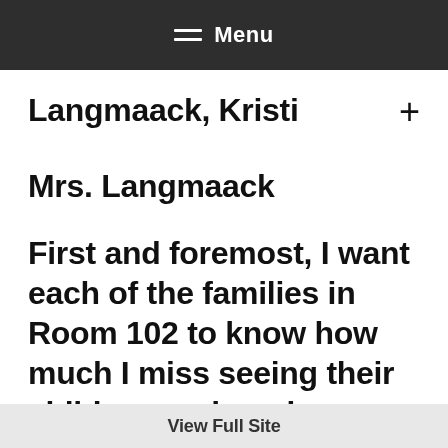Menu
Langmaack, Kristi
Mrs. Langmaack
First and foremost, I want each of the families in Room 102 to know how much I miss seeing their children each and every
View Full Site